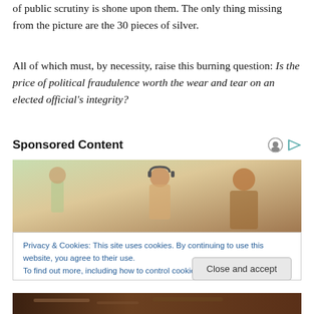of public scrutiny is shone upon them. The only thing missing from the picture are the 30 pieces of silver.
All of which must, by necessity, raise this burning question: Is the price of political fraudulence worth the wear and tear on an elected official’s integrity?
Sponsored Content
[Figure (photo): Office scene with people wearing headphones working at computers]
Privacy & Cookies: This site uses cookies. By continuing to use this website, you agree to their use.
To find out more, including how to control cookies, see here: Cookie Policy
[Figure (photo): Partial bottom image strip showing hands/workspace]